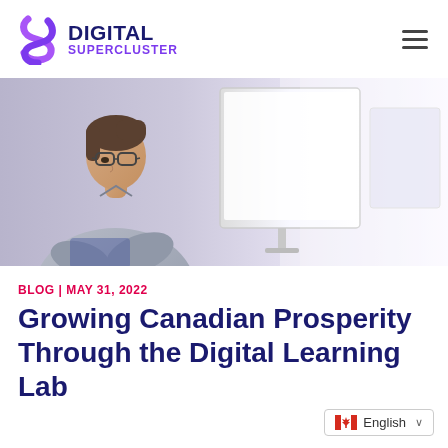Digital Supercluster
[Figure (photo): Person wearing glasses sitting at a desk looking at a computer monitor in an office setting, viewed from the side]
BLOG | MAY 31, 2022
Growing Canadian Prosperity Through the Digital Learning Lab